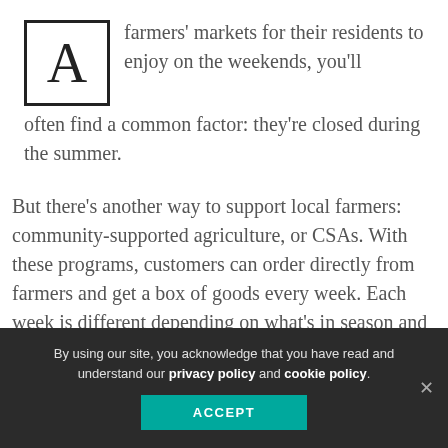A farmers' markets for their residents to enjoy on the weekends, you'll often find a common factor: they're closed during the summer.
But there's another way to support local farmers: community-supported agriculture, or CSAs. With these programs, customers can order directly from farmers and get a box of goods every week. Each week is different depending on what's in season and what the...
By using our site, you acknowledge that you have read and understand our privacy policy and cookie policy.